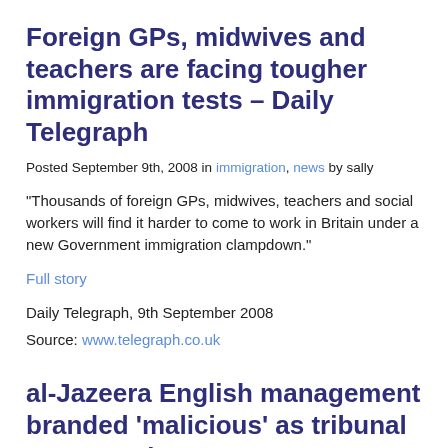Foreign GPs, midwives and teachers are facing tougher immigration tests – Daily Telegraph
Posted September 9th, 2008 in immigration, news by sally
“Thousands of foreign GPs, midwives, teachers and social workers will find it harder to come to work in Britain under a new Government immigration clampdown.”
Full story
Daily Telegraph, 9th September 2008
Source: www.telegraph.co.uk
al-Jazeera English management branded ‘malicious’ as tribunal opens – The